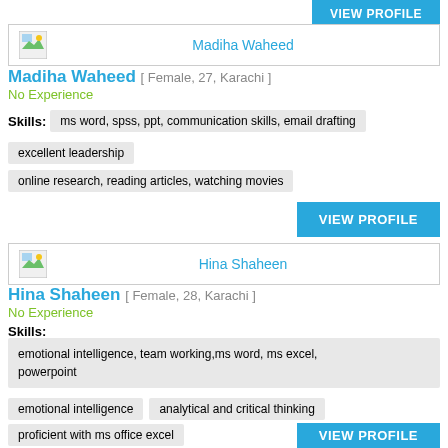[Figure (screenshot): VIEW PROFILE button at top right]
[Figure (screenshot): Profile card header with image icon and name Madiha Waheed]
Madiha Waheed [ Female, 27, Karachi ]
No Experience
Skills: ms word, spss, ppt, communication skills, email drafting
excellent leadership
online research, reading articles, watching movies
[Figure (screenshot): VIEW PROFILE button]
[Figure (screenshot): Profile card header with image icon and name Hina Shaheen]
Hina Shaheen [ Female, 28, Karachi ]
No Experience
Skills:
emotional intelligence, team working,ms word, ms excel, powerpoint
emotional intelligence
analytical and critical thinking
proficient with ms office excel
[Figure (screenshot): VIEW PROFILE button at bottom]